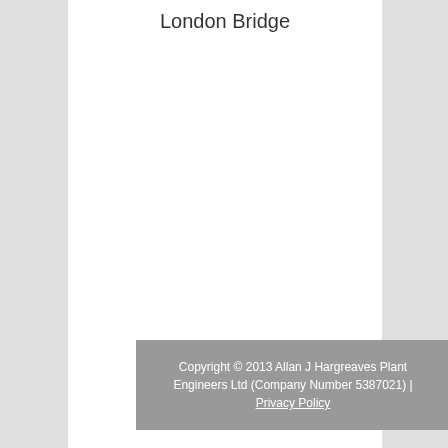London Bridge
Copyright © 2013 Allan J Hargreaves Plant Engineers Ltd (Company Number 5387021) | Privacy Policy